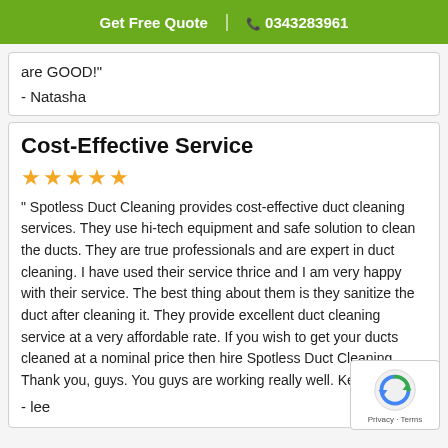Get Free Quote | 0343283961
are GOOD!"
- Natasha
Cost-Effective Service
★★★★★
" Spotless Duct Cleaning provides cost-effective duct cleaning services. They use hi-tech equipment and safe solution to clean the ducts. They are true professionals and are expert in duct cleaning. I have used their service thrice and I am very happy with their service. The best thing about them is they sanitize the duct after cleaning it. They provide excellent duct cleaning service at a very affordable rate. If you wish to get your ducts cleaned at a nominal price then hire Spotless Duct Cleaning. Thank you, guys. You guys are working really well. Keep it up."
- lee